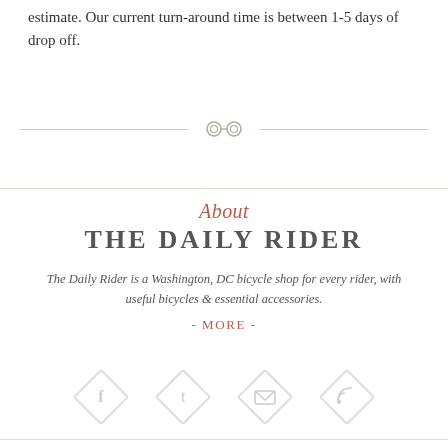estimate. Our current turn-around time is between 1-5 days of drop off.
[Figure (illustration): Decorative divider with two chain link circles connected by horizontal lines on either side]
About
THE DAILY RIDER
The Daily Rider is a Washington, DC bicycle shop for every rider, with useful bicycles & essential accessories.
- MORE -
[Figure (illustration): Four diamond-shaped social media icons: Facebook, Twitter, Email/Envelope, RSS feed]